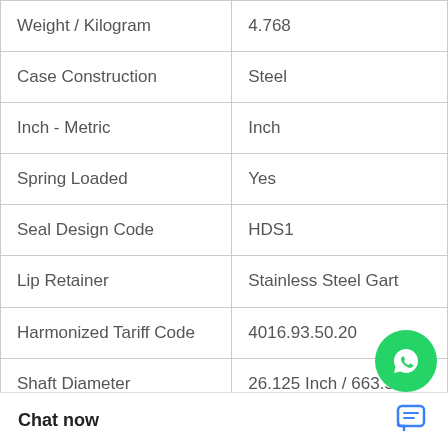| Property | Value |
| --- | --- |
| Weight / Kilogram | 4.768 |
| Case Construction | Steel |
| Inch - Metric | Inch |
| Spring Loaded | Yes |
| Seal Design Code | HDS1 |
| Lip Retainer | Stainless Steel Gart |
| Harmonized Tariff Code | 4016.93.50.20 |
| Shaft Diameter | 26.125 Inch / 663.57 |
| Category | Oil Seals |
| (partial) | 8.25 Inch / 717.55 |
[Figure (other): WhatsApp Online button overlay with green circle phone icon, text 'WhatsApp Online']
Chat now